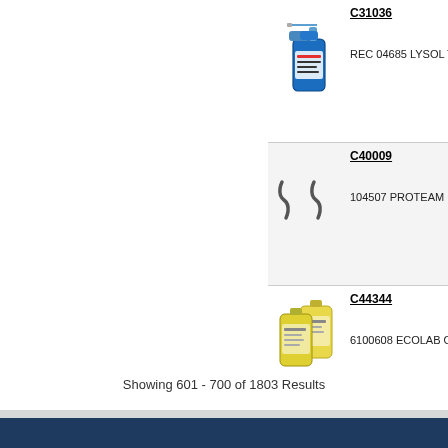C31036 — REC 04685 LYSOL TUB...
C40009 — 104507 PROTEAM DET...
C44344 — 6100608 ECOLAB OAS...
Showing 601 - 700 of 1803 Results
Paper Products Co... © Co...